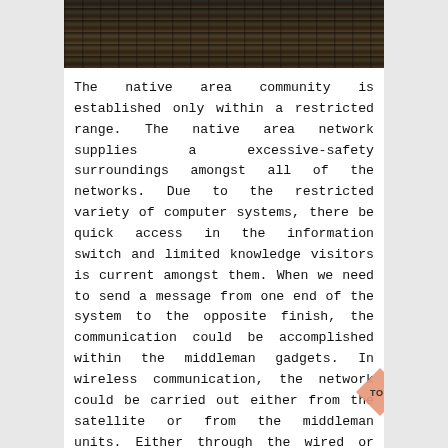[Figure (photo): Partial view of dark metal/printing press machinery or woodworking clamps on a wooden surface, cropped at top of page]
The native area community is established only within a restricted range. The native area network supplies a excessive-safety surroundings amongst all of the networks. Due to the restricted variety of computer systems, there be quick access in the information switch and limited knowledge visitors is current amongst them. When we need to send a message from one end of the system to the opposite finish, the communication could be accomplished within the middleman gadgets. In wireless communication, the network could be carried out either from the satellite or from the middleman units. Either through the wired or wi-fi community, the communication can be handed.